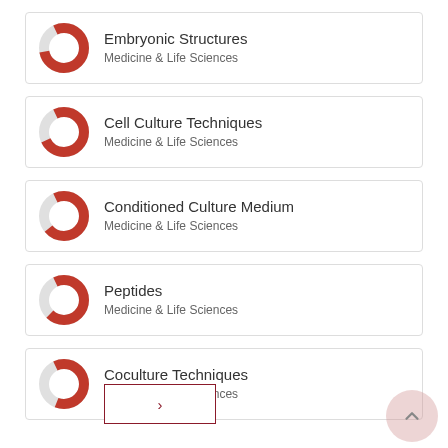Embryonic Structures — Medicine & Life Sciences
Cell Culture Techniques — Medicine & Life Sciences
Conditioned Culture Medium — Medicine & Life Sciences
Peptides — Medicine & Life Sciences
Coculture Techniques — Medicine & Life Sciences